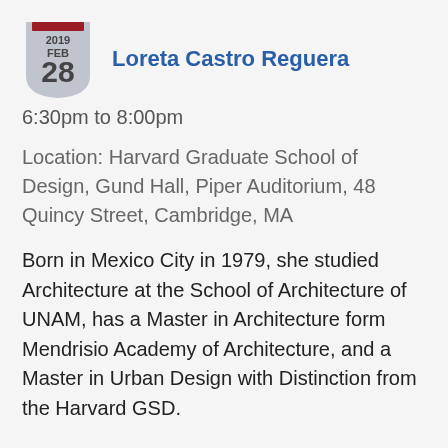Loreta Castro Reguera
6:30pm to 8:00pm
Location: Harvard Graduate School of Design, Gund Hall, Piper Auditorium, 48 Quincy Street, Cambridge, MA
Born in Mexico City in 1979, she studied Architecture at the School of Architecture of UNAM, has a Master in Architecture form Mendrisio Academy of Architecture, and a Master in Urban Design with Distinction from the Harvard GSD.